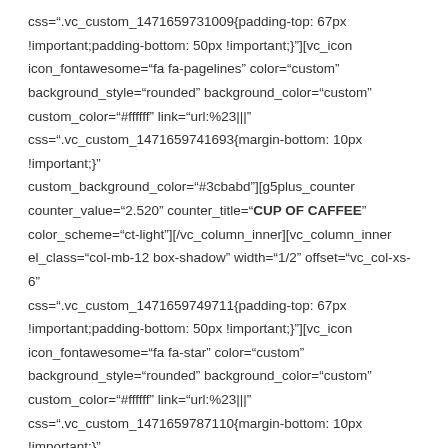css=".vc_custom_1471659731009{padding-top: 67px !important;padding-bottom: 50px !important;}"][vc_icon icon_fontawesome="fa fa-pagelines" color="custom" background_style="rounded" background_color="custom" custom_color="#ffffff" link="url:%23|||" css=".vc_custom_1471659741693{margin-bottom: 10px !important;}" custom_background_color="#3cbabd"][g5plus_counter counter_value="2.520" counter_title="CUP OF CAFFEE" color_scheme="ct-light"][/vc_column_inner][vc_column_inner el_class="col-mb-12 box-shadow" width="1/2" offset="vc_col-xs-6" css=".vc_custom_1471659749711{padding-top: 67px !important;padding-bottom: 50px !important;}"][vc_icon icon_fontawesome="fa fa-star" color="custom" background_style="rounded" background_color="custom" custom_color="#ffffff" link="url:%23|||" css=".vc_custom_1471659787110{margin-bottom: 10px !important;}" custom_background_color="#3cbabd"][g5plus_counter counter_value="1750" counter_title="FEATURES" color_scheme="ct-